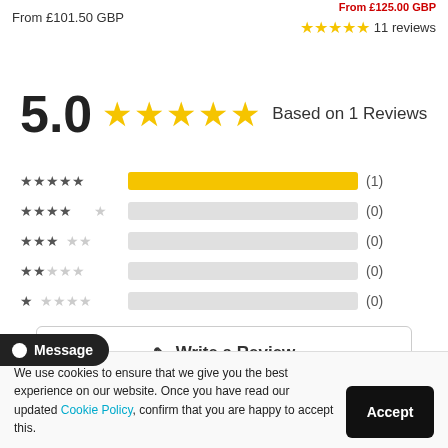From £101.50 GBP
From £125.00 GBP
★★★★★ 11 reviews
5.0 ★★★★★ Based on 1 Reviews
[Figure (bar-chart): Star rating breakdown]
Write a Review
We use cookies to ensure that we give you the best experience on our website. Once you have read our updated Cookie Policy, confirm that you are happy to accept this.
Accept
Message